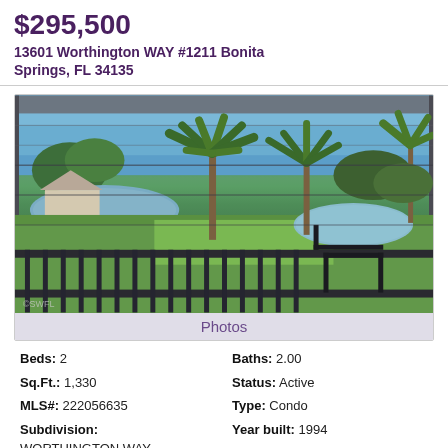$295,500
13601 Worthington WAY #1211 Bonita Springs, FL 34135
[Figure (photo): View from a screened balcony overlooking a golf course and pond with palm trees under a blue sky]
Photos
Beds: 2  Baths: 2.00  Sq.Ft.: 1,330  Status: Active  MLS#: 222056635  Type: Condo  Subdivision: WORTHINGTON WAY  Year built: 1994